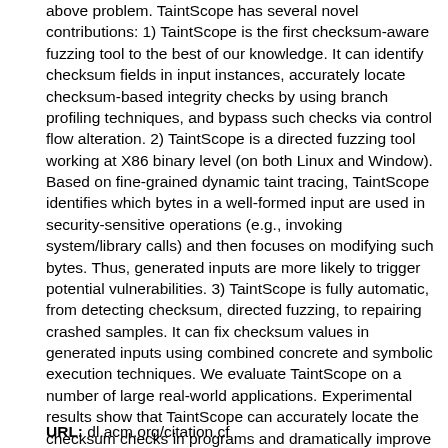above problem. TaintScope has several novel contributions: 1) TaintScope is the first checksum-aware fuzzing tool to the best of our knowledge. It can identify checksum fields in input instances, accurately locate checksum-based integrity checks by using branch profiling techniques, and bypass such checks via control flow alteration. 2) TaintScope is a directed fuzzing tool working at X86 binary level (on both Linux and Window). Based on fine-grained dynamic taint tracing, TaintScope identifies which bytes in a well-formed input are used in security-sensitive operations (e.g., invoking system/library calls) and then focuses on modifying such bytes. Thus, generated inputs are more likely to trigger potential vulnerabilities. 3) TaintScope is fully automatic, from detecting checksum, directed fuzzing, to repairing crashed samples. It can fix checksum values in generated inputs using combined concrete and symbolic execution techniques. We evaluate TaintScope on a number of large real-world applications. Experimental results show that TaintScope can accurately locate the checksum checks in programs and dramatically improve the effectiveness of fuzz testing. TaintScope has already found 27 previously unknown vulnerabilities in several widely used applications, including Adobe Acrobat, Google Picasa, Microsoft Paint, and ImageMagick. Most of these severe vulnerabilities have been confirmed by Secunia and oCERT, and assigned CVE identifiers (such as CVE-2009-1882, CVE-2009-2688). Corresponding patches from vendors are released or in progress based on our reports.
URL: dl.acm.org/citation.cf